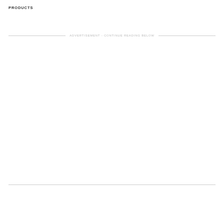PRODUCTS
ADVERTISEMENT - CONTINUE READING BELOW